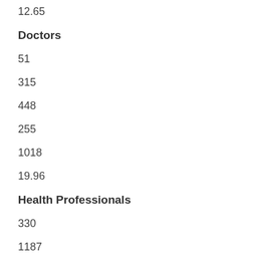12.65
Doctors
51
315
448
255
1018
19.96
Health Professionals
330
1187